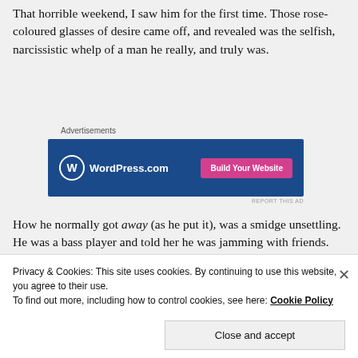That horrible weekend, I saw him for the first time. Those rose-coloured glasses of desire came off, and revealed was the selfish, narcissistic whelp of a man he really, and truly was.
Advertisements
[Figure (screenshot): WordPress.com advertisement banner with blue background, WordPress logo on left and 'Build Your Website' pink button on right]
How he normally got away (as he put it), was a smidge unsettling. He was a bass player and told her he was jamming with friends. He went out most Thursdays, and
Privacy & Cookies: This site uses cookies. By continuing to use this website, you agree to their use. To find out more, including how to control cookies, see here: Cookie Policy
Close and accept